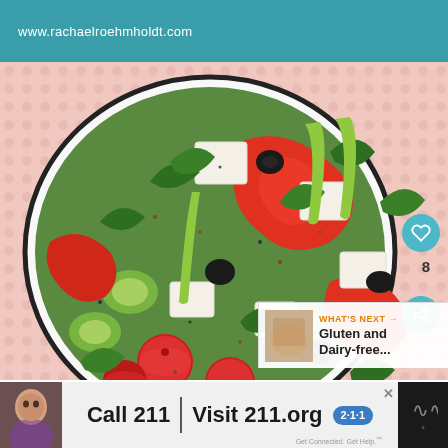www.rachaelroehmholdt.com
[Figure (photo): Close-up photo of a Greek salad in a white bowl with black rim, containing cherry tomatoes, feta cheese cubes, black olives, cucumber, red bell pepper, red onion, and fresh parsley with black pepper seasoning, on a pink dotted background.]
8
WHAT'S NEXT → Gluten and Dairy-free...
Call 211 | Visit 211.org